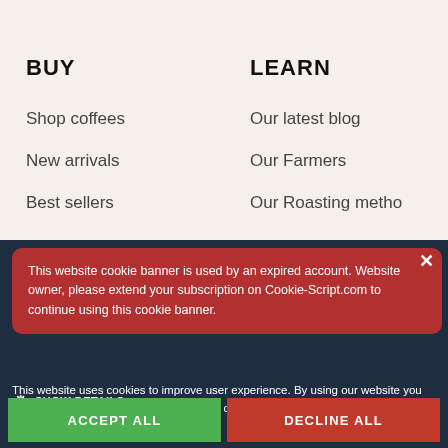BUY
Shop coffees
New arrivals
Best sellers
LEARN
Our latest blog
Our Farmers
Our Roasting metho
This website cookie banner is used by an expired account. Website owner, please extend your subscription on Cookie-Script.com to continue using this cookie banner.
This website uses cookies to improve user experience. By using our website you consent to all cookies in accordance with our Cookie Policy. Read more
SHOW DETAILS
ACCEPT ALL
DECLINE ALL